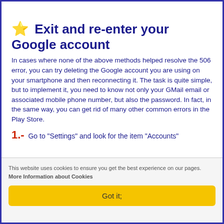⭐ Exit and re-enter your Google account
In cases where none of the above methods helped resolve the 506 error, you can try deleting the Google account you are using on your smartphone and then reconnecting it. The task is quite simple, but to implement it, you need to know not only your GMail email or associated mobile phone number, but also the password. In fact, in the same way, you can get rid of many other common errors in the Play Store.
1.- Go to "Settings" and look for the item "Accounts"
This website uses cookies to ensure you get the best experience on our pages. More Information about Cookies
Got it;